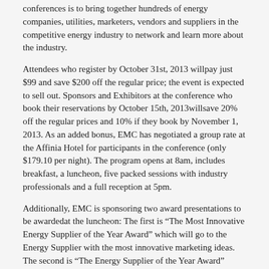conferences is to bring together hundreds of energy companies, utilities, marketers, vendors and suppliers in the competitive energy industry to network and learn more about the industry.
Attendees who register by October 31st, 2013 willpay just $99 and save $200 off the regular price; the event is expected to sell out. Sponsors and Exhibitors at the conference who book their reservations by October 15th, 2013willsave 20% off the regular prices and 10% if they book by November 1, 2013. As an added bonus, EMC has negotiated a group rate at the Affinia Hotel for participants in the conference (only $179.10 per night). The program opens at 8am, includes breakfast, a luncheon, five packed sessions with industry professionals and a full reception at 5pm.
Additionally, EMC is sponsoring two award presentations to be awardedat the luncheon: The first is “The Most Innovative Energy Supplier of the Year Award” which will go to the Energy Supplier with the most innovative marketing ideas. The second is “The Energy Supplier of the Year Award” which will go to the Energy Supplier who succeeded in building a stellar organization and a thriving business. Go to www.energymarketingconferences.com for more information and to register online.